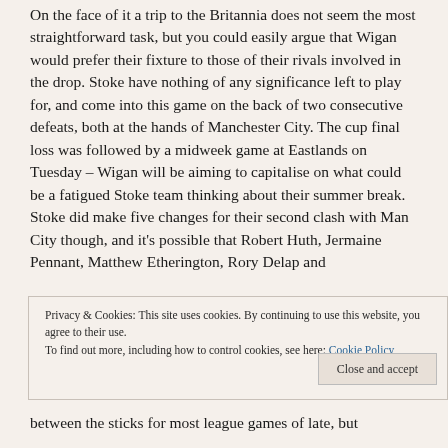On the face of it a trip to the Britannia does not seem the most straightforward task, but you could easily argue that Wigan would prefer their fixture to those of their rivals involved in the drop. Stoke have nothing of any significance left to play for, and come into this game on the back of two consecutive defeats, both at the hands of Manchester City. The cup final loss was followed by a midweek game at Eastlands on Tuesday – Wigan will be aiming to capitalise on what could be a fatigued Stoke team thinking about their summer break.
Stoke did make five changes for their second clash with Man City though, and it's possible that Robert Huth, Jermaine Pennant, Matthew Etherington, Rory Delap and
Privacy & Cookies: This site uses cookies. By continuing to use this website, you agree to their use.
To find out more, including how to control cookies, see here: Cookie Policy
between the sticks for most league games of late, but